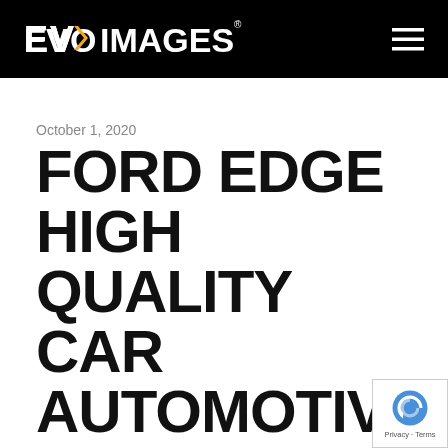EVOX IMAGES
October 1, 2020
FORD EDGE HIGH QUALITY CAR AUTOMOTIVE STOCK PHOTO & IMAGES